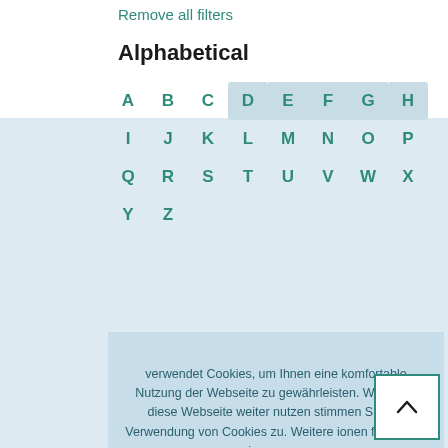Remove all filters
Alphabetical
A B C D E F G H I J K L M N O P Q R S T U V W X Y Z
verwendet Cookies, um Ihnen eine komfortable Nutzung der Webseite zu gewährleisten. Wenn Sie diese Webseite weiter nutzen stimmen Sie der Verwendung von Cookies zu. Weitere ionen finden Sie in unserer
Technology
PROFIBUS
PROFIBUS PA
PROFINET
PROFIsafe
Verstanden
Scope